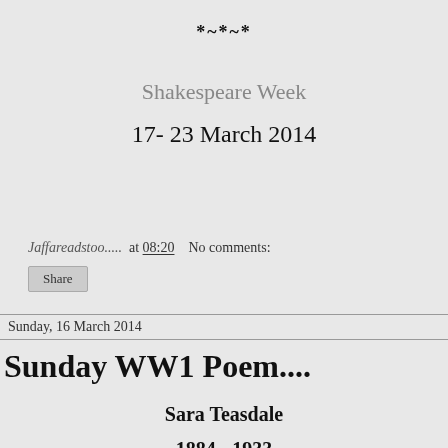*~*~*
Shakespeare Week
17- 23 March 2014
Jaffareadstoo.....  at  08:20    No comments:
Share
Sunday, 16 March 2014
Sunday WW1 Poem....
Sara Teasdale
1884 - 1933